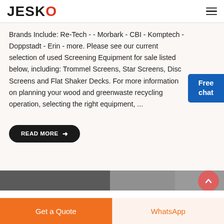JESCO
Brands Include: Re-Tech - - Morbark - CBI - Komptech - Doppstadt - Erin - more. Please see our current selection of used Screening Equipment for sale listed below, including: Trommel Screens, Star Screens, Disc Screens and Flat Shaker Decks. For more information on planning your wood and greenwaste recycling operation, selecting the right equipment, ...
[Figure (other): Free chat widget button in blue]
READ MORE →
[Figure (photo): Partial image strip at bottom of content area]
[Figure (other): Back to top circular button with upward chevron]
Get a Quote | WhatsApp